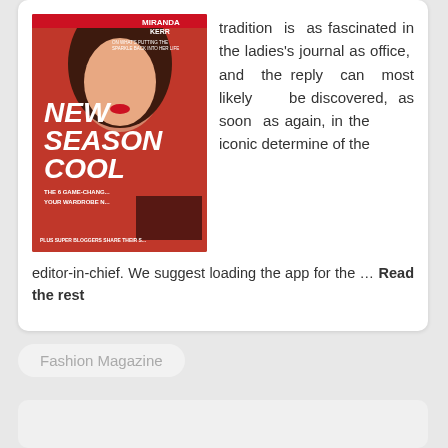[Figure (photo): Magazine cover showing a woman with red dress and dark hair. Text reads: NEW SEASON COOL, THE 6 GAME-CHANGING YOUR WARDROBE N..., PLUS SUPER BLOGGERS SHARE THEIR S... Miranda Kerr on cover.]
tradition is as fascinated in the ladies's journal as office, and the reply can most likely be discovered, as soon as again, in the iconic determine of the editor-in-chief. We suggest loading the app for the … Read the rest
Fashion Magazine